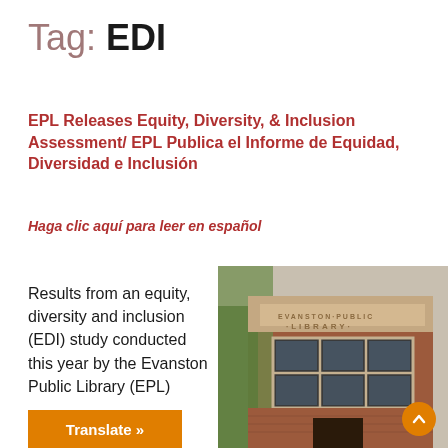Tag: EDI
EPL Releases Equity, Diversity, & Inclusion Assessment/ EPL Publica el Informe de Equidad, Diversidad e Inclusión
Haga clic aquí para leer en español
Results from an equity, diversity and inclusion (EDI) study conducted this year by the Evanston Public Library (EPL)
[Figure (photo): Exterior facade of the Evanston Public Library building showing brick construction with the text EVANSTON PUBLIC LIBRARY inscribed above large windows]
Translate »